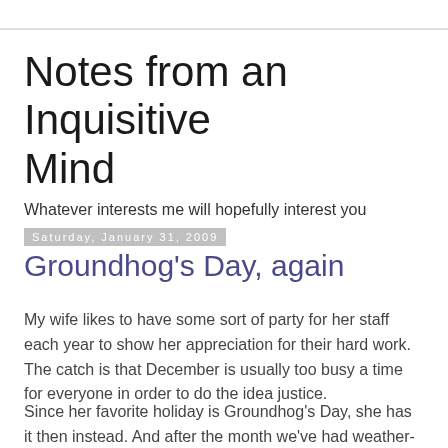Notes from an Inquisitive Mind
Whatever interests me will hopefully interest you
Saturday, January 31, 2009
Groundhog's Day, again
My wife likes to have some sort of party for her staff each year to show her appreciation for their hard work. The catch is that December is usually too busy a time for everyone in order to do the idea justice.
Since her favorite holiday is Groundhog's Day, she has it then instead. And after the month we've had weather-wise, a